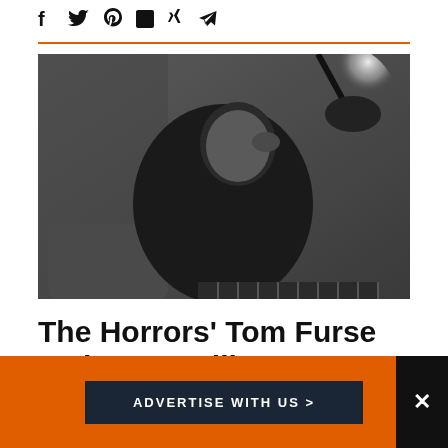f  ✓  ⊕  in  ✗  ✈
[Figure (photo): Black and white photo of a man in dark clothing, sitting and resting his head on his hand, with a desk lamp behind him casting light.]
The Horrors' Tom Furse on how AI will revolutionise
ADVERTISE WITH US >